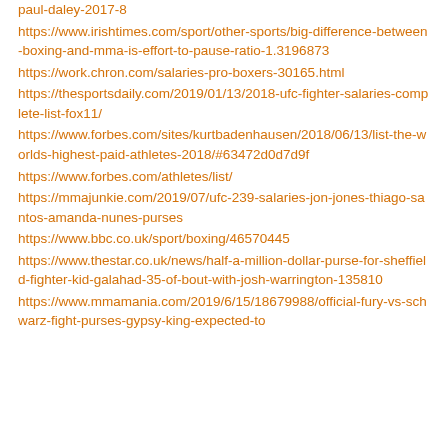paul-daley-2017-8
https://www.irishtimes.com/sport/other-sports/big-difference-between-boxing-and-mma-is-effort-to-pause-ratio-1.3196873
https://work.chron.com/salaries-pro-boxers-30165.html
https://thesportsdaily.com/2019/01/13/2018-ufc-fighter-salaries-complete-list-fox11/
https://www.forbes.com/sites/kurtbadenhausen/2018/06/13/list-the-worlds-highest-paid-athletes-2018/#63472d0d7d9f
https://www.forbes.com/athletes/list/
https://mmajunkie.com/2019/07/ufc-239-salaries-jon-jones-thiago-santos-amanda-nunes-purses
https://www.bbc.co.uk/sport/boxing/46570445
https://www.thestar.co.uk/news/half-a-million-dollar-purse-for-sheffield-fighter-kid-galahad-35-of-bout-with-josh-warrington-135810
https://www.mmamania.com/2019/6/15/18679988/official-fury-vs-schwarz-fight-purses-gypsy-king-expected-to